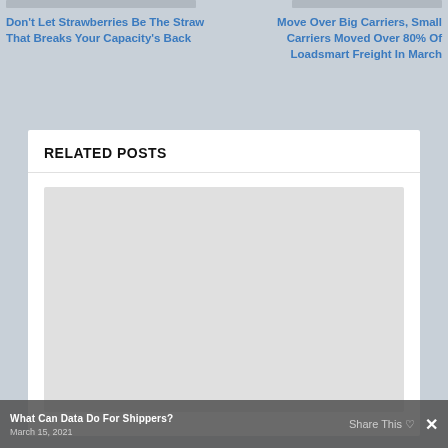Don't Let Strawberries Be The Straw That Breaks Your Capacity's Back
Move Over Big Carriers, Small Carriers Moved Over 80% Of Loadsmart Freight In March
RELATED POSTS
[Figure (photo): Placeholder image thumbnail for a related post]
What Can Data Do For Shippers?
March 15, 2021
Share This